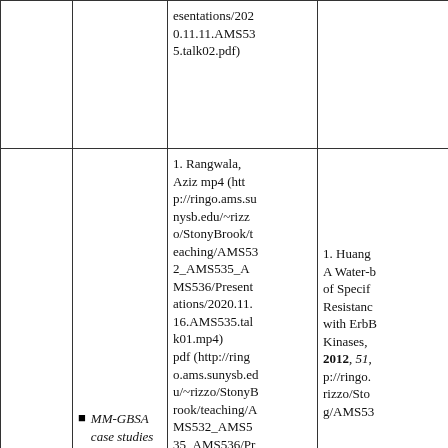|  |  | esentations/2020.11.11.AMS535.talk02.pdf) |  |
|  | • MM-GBSA case studies
1. ErbB family selectivity... | 1. Rangwala, Aziz mp4 (http://ringo.ams.sunysb.edu/~rizzo/StonyBrook/teaching/AMS532_AMS535_AMS536/Presentations/2020.11.16.AMS535.talk01.mp4)
pdf (http://ringo.ams.sunysb.edu/~rizzo/StonyBrook/teaching/AMS532_AMS535_AMS536/Presentations/2020.11.16.AMS53... | 1. Huang A Water-M... of Specif... Resistanc... with ErbB Kinases, 2012, 51, p://ringo. rizzo/Sto g/AMS53... |